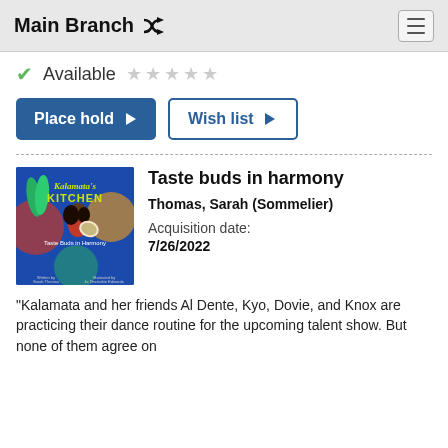Main Branch
Available
Place hold
Wish list
[Figure (illustration): Book cover of Kalamata's Kitchen: Taste Buds in Harmony, featuring an illustrated child with colorful fruits and vegetables on a blue background]
Taste buds in harmony
Thomas, Sarah (Sommelier)   Acquisition date: 7/26/2022
"Kalamata and her friends Al Dente, Kyo, Dovie, and Knox are practicing their dance routine for the upcoming talent show. But none of them agree on